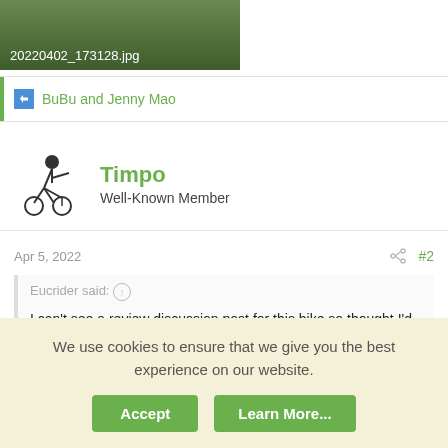[Figure (photo): Cropped photo strip showing outdoor scene with filename overlay '20220402_173128.jpg']
BuBu and Jenny Mao
Timpo
Well-Known Member
Apr 5, 2022  #2
Eucrider said:
I can't see a review discussion post for this bike so thought I'd start one
Specs - 48v 17ah (upgradable to 25ah and 1000watt ( don't think it gives the full 1000watt but close )
We use cookies to ensure that we give you the best experience on our website.